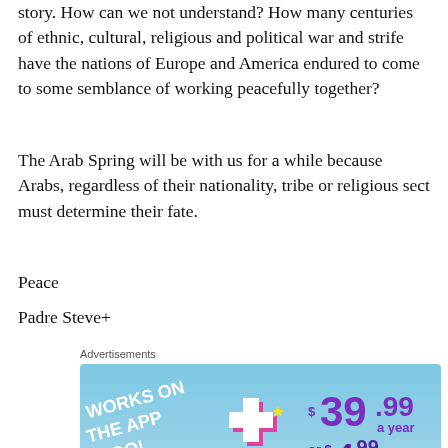story. How can we not understand? How many centuries of ethnic, cultural, religious and political war and strife have the nations of Europe and America endured to come to some semblance of working peacefully together?
The Arab Spring will be with us for a while because Arabs, regardless of their nationality, tribe or religious sect must determine their fate.
Peace
Padre Steve+
Advertisements
[Figure (infographic): Advertisement banner: blue background with text 'WORKS ON THE APP TOO!' in white bold letters on left. Right side shows '$39.99 a year or $4.99 a month + FREE SHIPPING' in purple/large text. Center shows a Facebook-like plus icon with yellow sparkle stars.]